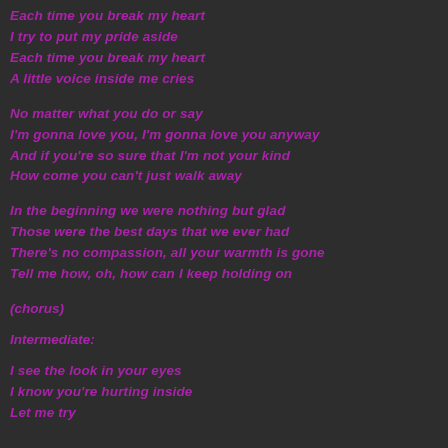Each time you break my heart
I try to put my pride aside
Each time you break my heart
A little voice inside me cries
No matter what you do or say
I'm gonna love you, I'm gonna love you anyway
And if you're so sure that I'm not your kind
How come you can't just walk away
In the beginning we were nothing but glad
Those were the best days that we ever had
There's no compassion, all your warmth is gone
Tell me how, oh, how can I keep holding on
(chorus)
Intermediate:
I see the look in your eyes
I know you're hurting inside
Let me try